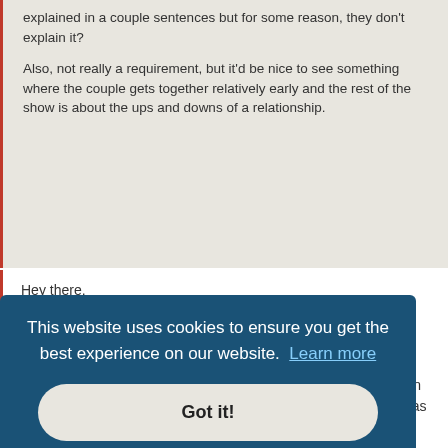explained in a couple sentences but for some reason, they don't explain it?

Also, not really a requirement, but it'd be nice to see something where the couple gets together relatively early and the rest of the show is about the ups and downs of a relationship.
Hey there.

Not a lot of peoples favorite but you might want to check out "Pasta".

One risk I foresee is the male lead depending on what you mean by douchebag (I did not get any douche vibe from him but he was very loud) but other than that, it has all the points you ask for.
This website uses cookies to ensure you get the best experience on our website. Learn more
Got it!
douchebag male lead, annoying love triangles, and characters